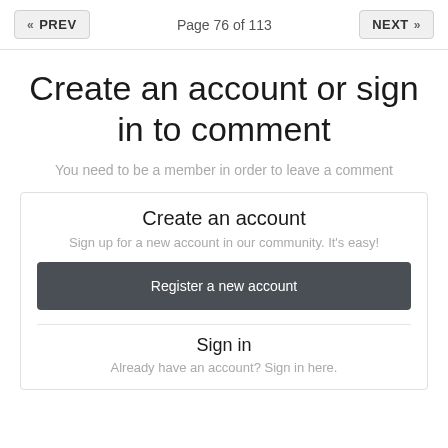« PREV   Page 76 of 113   NEXT »
Create an account or sign in to comment
You need to be a member in order to leave a comment
Create an account
Sign up for a new account in our community. It's easy!
Register a new account
Sign in
Already have an account? Sign in here.